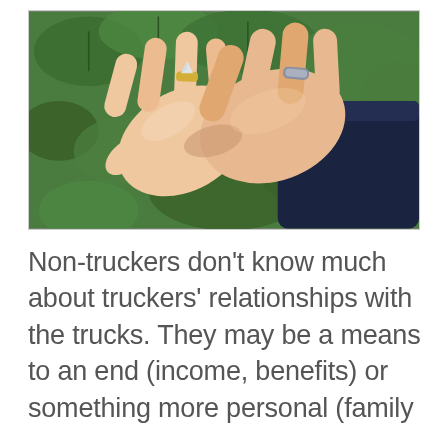[Figure (photo): Two hands clasped together outdoors against green leafy background. One hand wears a diamond wedding band ring, the other wears a silver/metal ring. One wrist is wrapped in a dark navy blazer sleeve.]
Non-truckers don't know much about truckers' relationships with the trucks. They may be a means to an end (income, benefits) or something more personal (family